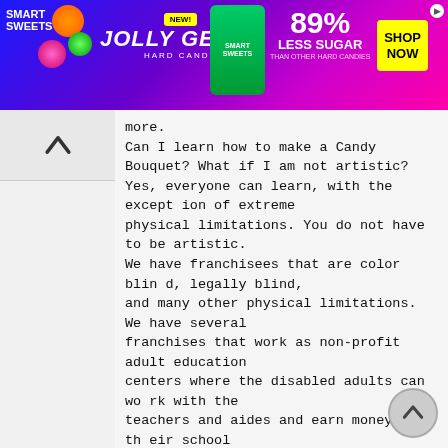[Figure (screenshot): Smart Sweets advertisement banner for Jolly Gems Hard Candy with '89% Less Sugar than other hard candies' and a 'Shop Now' button]
more.
Can I learn how to make a Candy Bouquet? What if I am not artistic?
Yes, everyone can learn, with the exception of extreme physical limitations. You do not have to be artistic.
We have franchisees that are color blind, legally blind, and many other physical limitations. We have several franchises that work as non-profit adult education centers where the disabled adults can work with the teachers and aides and earn money for their school centers.
If you are not an “artistic” person, you may want to pay close attention to our patterned Can